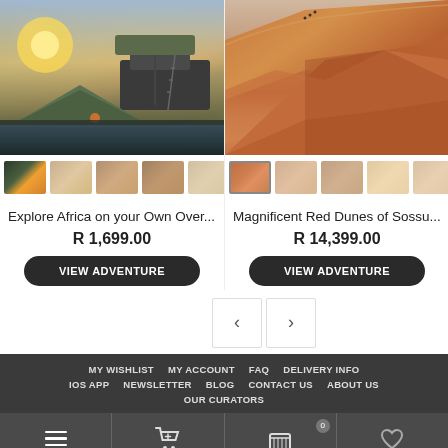[Figure (photo): Camping scene with rooftop tent on vehicle and ground tent at sunset near water]
[Figure (photo): Red sand dunes of Sossusvlei, Namibia, with small figures of people on the dunes]
Explore Africa on your Own Over…
R 1,699.00
VIEW ADVENTURE
Magnificent Red Dunes of Sossu…
R 14,399.00
VIEW ADVENTURE
MY WISHLIST   MY ACCOUNT   FAQ   DELIVERY INFO   IOS APP   NEWSLETTER   BLOG   CONTACT US   ABOUT US   OUR CURATORS